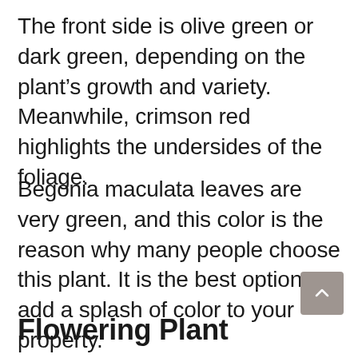The front side is olive green or dark green, depending on the plant's growth and variety. Meanwhile, crimson red highlights the undersides of the foliage.
Begonia maculata leaves are very green, and this color is the reason why many people choose this plant. It is the best option to add a splash of color to your property.
Flowering Plant